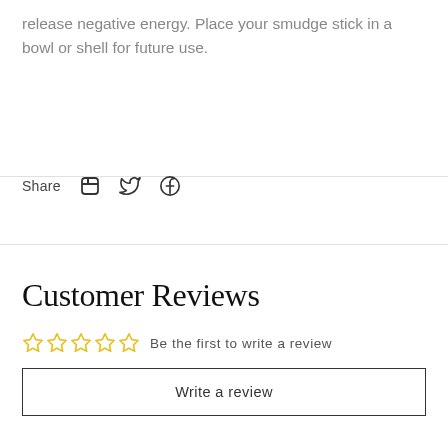release negative energy. Place your smudge stick in a bowl or shell for future use.
Share
Customer Reviews
Be the first to write a review
Write a review